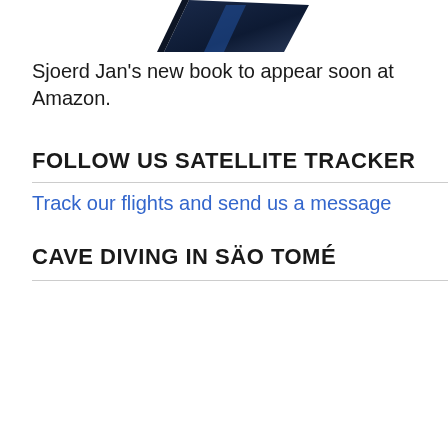[Figure (photo): Partial view of a book cover, cropped at top of the page]
Sjoerd Jan's new book to appear soon at Amazon.
FOLLOW US SATELLITE TRACKER
Track our flights and send us a message
CAVE DIVING IN SÄO TOMÉ